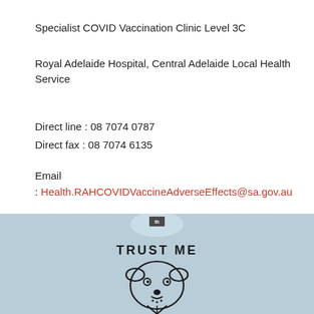Specialist COVID Vaccination Clinic Level 3C
Royal Adelaide Hospital, Central Adelaide Local Health Service
Direct line : 08 7074 0787
Direct fax : 08 7074 6135
Email
: Health.RAHCOVIDVaccineAdverseEffects@sa.gov.au
[Figure (photo): Photo of a light blue t-shirt with a cartoon dog illustration wearing a suit and tie, with text 'TRUST ME' above the dog. The shirt has a small 'th' brand label at the collar.]